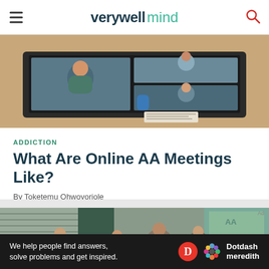verywell mind
[Figure (photo): Screenshot of a video call on a laptop showing multiple participants in a Zoom-style meeting]
ADDICTION
What Are Online AA Meetings Like?
By Toketemu Ohwovoriole
[Figure (photo): People attending an in-person AA meeting in a room with a chalkboard visible in the background]
Ad
We help people find answers, solve problems and get inspired. Dotdash meredith